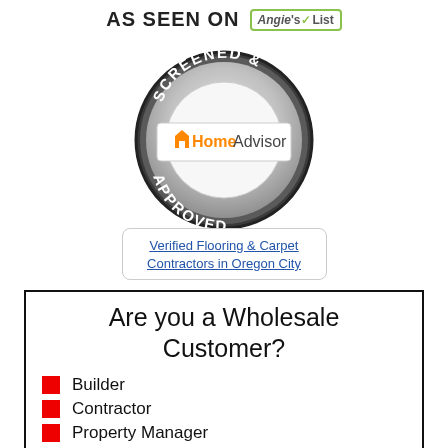AS SEEN ON Angie's List
[Figure (logo): HomeAdvisor Screened & Approved badge seal]
Verified Flooring & Carpet Contractors in Oregon City
Are you a Wholesale Customer?
Builder
Contractor
Property Manager